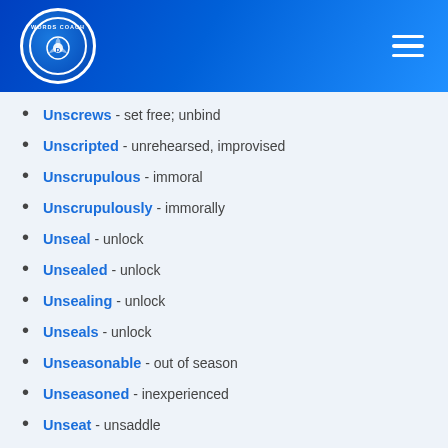[Figure (logo): Words Coach logo — circular blue badge with camera aperture icon and text 'WORDS COACH']
Unscrews - set free; unbind
Unscripted - unrehearsed, improvised
Unscrupulous - immoral
Unscrupulously - immorally
Unseal - unlock
Unsealed - unlock
Unsealing - unlock
Unseals - unlock
Unseasonable - out of season
Unseasoned - inexperienced
Unseat - unsaddle